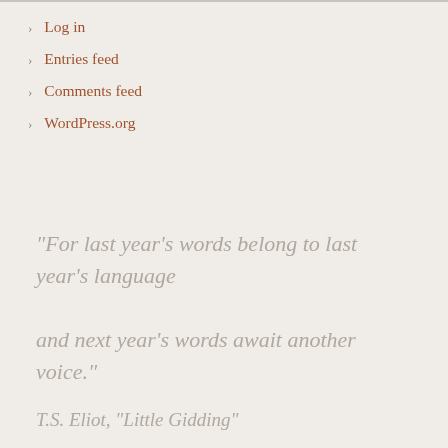Log in
Entries feed
Comments feed
WordPress.org
"For last year's words belong to last year's language and next year's words await another voice."
T.S. Eliot, "Little Gidding"